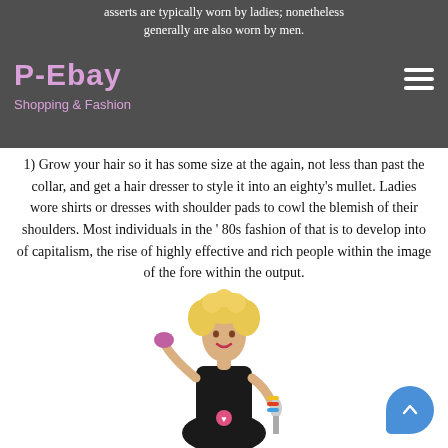asserts are typically worn by ladies; nonetheless generally are also worn by men.
P-Ebay
Shopping & Fashion
1) Grow your hair so it has some size at the again, not less than past the collar, and get a hair dresser to style it into an eighty's mullet. Ladies wore shirts or dresses with shoulder pads to cowl the blemish of their shoulders. Most individuals in the ' 80s fashion of that is to develop into of capitalism, the rise of highly effective and rich people within the image of the fore within the output.
[Figure (photo): A young woman with curly blonde hair wearing a black sleeveless dress with colorful accessories, posing dynamically against a white background in an 80s fashion style.]